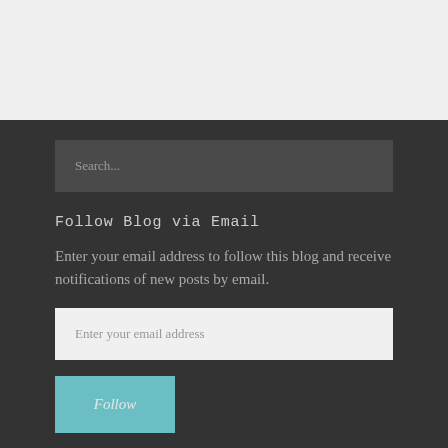[Figure (screenshot): Light gray top section of a webpage]
Search...
Follow Blog via Email
Enter your email address to follow this blog and receive notifications of new posts by email.
Enter your email address
Follow